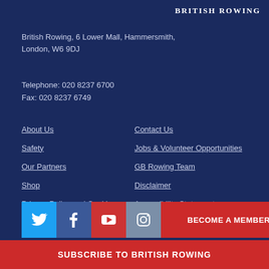British Rowing
British Rowing, 6 Lower Mall, Hammersmith, London, W6 9DJ
Telephone: 020 8237 6700
Fax: 020 8237 6749
About Us
Safety
Our Partners
Shop
Privacy Policy and Cookies Policy
Contact Us
Jobs & Volunteer Opportunities
GB Rowing Team
Disclaimer
Accessibility Statement
[Figure (infographic): Social media icons (Twitter, Facebook, YouTube, Instagram) and a red Become a Member button]
SUBSCRIBE TO BRITISH ROWING